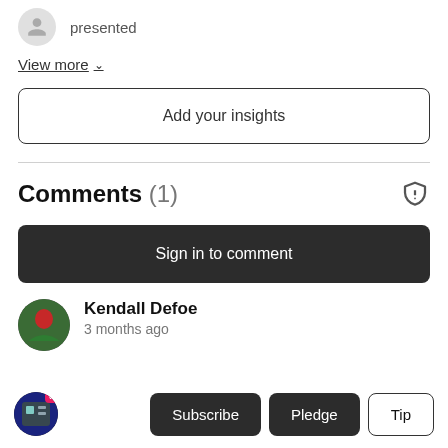presented
View more ˅
Add your insights
Comments (1)
Sign in to comment
Kendall Defoe
3 months ago
Subscribe  Pledge  Tip